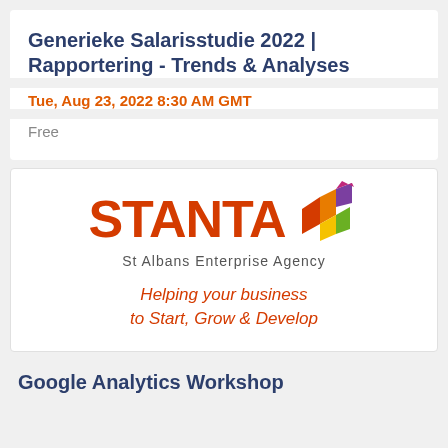Generieke Salarisstudie 2022 | Rapportering - Trends & Analyses
Tue, Aug 23, 2022 8:30 AM GMT
Free
[Figure (logo): STANTA St Albans Enterprise Agency logo with colorful geometric diamond shape. Text: Helping your business to Start, Grow & Develop]
Google Analytics Workshop